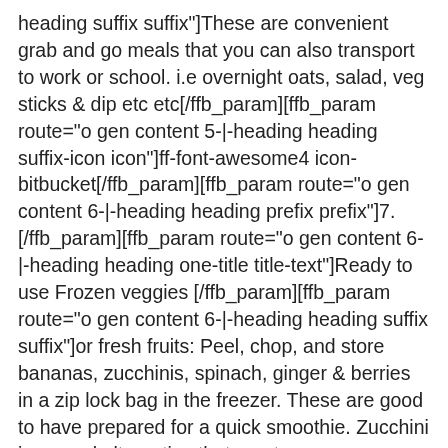heading suffix suffix"]These are convenient grab and go meals that you can also transport to work or school. i.e overnight oats, salad, veg sticks & dip etc etc[/ffb_param][ffb_param route="o gen content 5-|-heading heading suffix-icon icon"]ff-font-awesome4 icon-bitbucket[/ffb_param][ffb_param route="o gen content 6-|-heading heading prefix prefix"]7. [/ffb_param][ffb_param route="o gen content 6-|-heading heading one-title title-text"]Ready to use Frozen veggies [/ffb_param][ffb_param route="o gen content 6-|-heading heading suffix suffix"]or fresh fruits: Peel, chop, and store bananas, zucchinis, spinach, ginger & berries in a zip lock bag in the freezer. These are good to have prepared for a quick smoothie. Zucchini is a good alternative that creates a creamy texture with a lower sugar content in smoothies. Most people like pineapple, so having it already peeled & chopped in a container in the fridge is a great snack option that is ready to